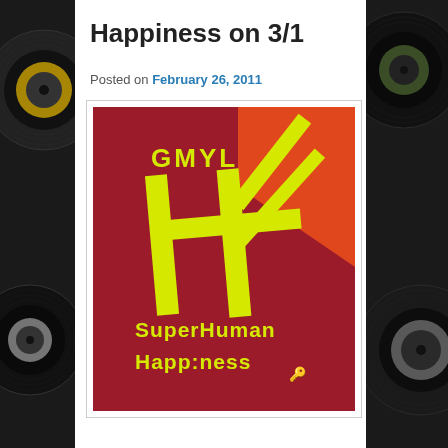Happiness on 3/1
Posted on February 26, 2011
[Figure (photo): A red fabric banner or flag with yellow text reading 'GMYL' at top, a large yellow hashtag/hash-mark symbol in the center, and 'SuperHuman Happiness' written at the bottom. Orange diagonal stripes visible in background.]